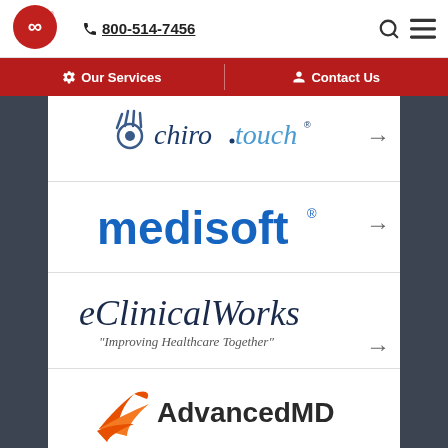flatworld solutions | 800-514-7456
[Figure (logo): Flatworld Solutions logo — infinity symbol in red circle with 'flatworld solutions' text]
[Figure (logo): Navigation bar with gear icon 'Our Services' and person icon 'Contact Us' on red background]
[Figure (logo): ChiroTouch logo — stylized hand with 'chirotouch' text in blue]
[Figure (logo): Medisoft logo — blue bold text 'medisoft' with registered trademark]
[Figure (logo): eClinicalWorks logo — dark blue italic text with tagline 'Improving Healthcare Together']
[Figure (logo): AdvancedMD logo — orange bird/feather icon with 'AdvancedMD' text, partially visible]